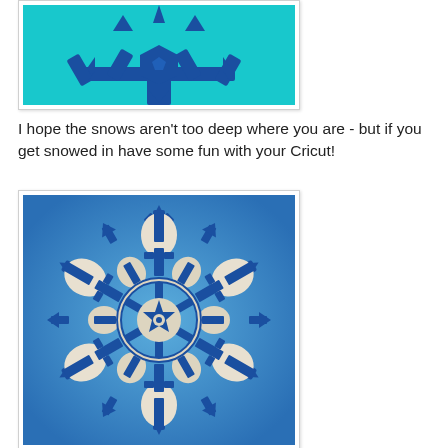[Figure (photo): A blue snowflake cutout on a teal/cyan background, showing the bottom portion of the snowflake design made with a Cricut cutting machine]
I hope the snows aren't too deep where you are - but if you get snowed in have some fun with your Cricut!
[Figure (photo): A blue and white layered paper snowflake cutout on a blue background, showing intricate snowflake pattern made with a Cricut cutting machine]